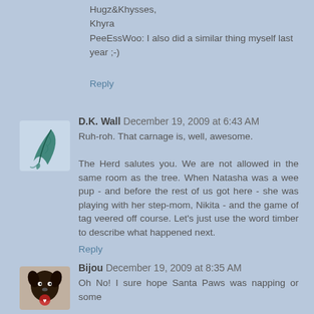Hugz&Khysses,
Khyra
PeeEssWoo: I also did a similar thing myself last year ;-)
Reply
D.K. Wall December 19, 2009 at 6:43 AM
Ruh-roh. That carnage is, well, awesome.
The Herd salutes you. We are not allowed in the same room as the tree. When Natasha was a wee pup - and before the rest of us got here - she was playing with her step-mom, Nikita - and the game of tag veered off course. Let's just use the word timber to describe what happened next.
Reply
Bijou December 19, 2009 at 8:35 AM
Oh No! I sure hope Santa Paws was napping or some